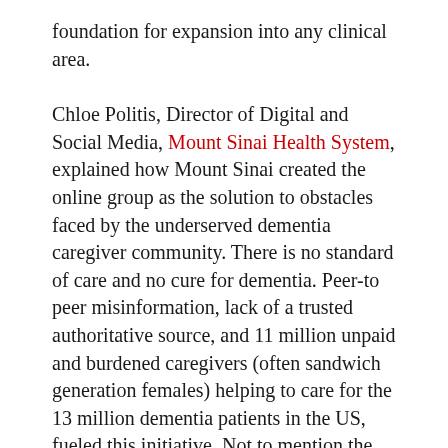foundation for expansion into any clinical area.
Chloe Politis, Director of Digital and Social Media, Mount Sinai Health System, explained how Mount Sinai created the online group as the solution to obstacles faced by the underserved dementia caregiver community. There is no standard of care and no cure for dementia. Peer-to peer misinformation, lack of a trusted authoritative source, and 11 million unpaid and burdened caregivers (often sandwich generation females) helping to care for the 13 million dementia patients in the US, fueled this initiative. Not to mention the Mount Sinai geriatrics team ranking as number one in the nation.
“We knew this entire program would live or die on the basis of the user experience, so we spent a huge amount of the time thinking about that and how the...